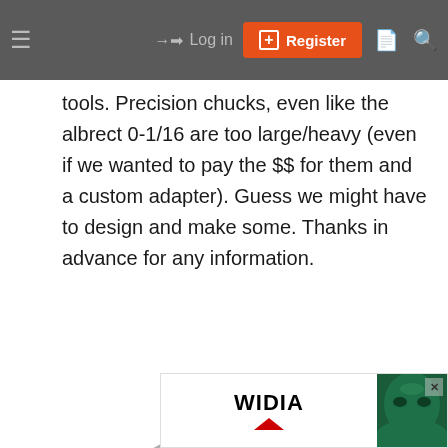≡   →) Log in   [+] Register
tools. Precision chucks, even like the albrect 0-1/16 are too large/heavy (even if we wanted to pay the $$ for them and a custom adapter). Guess we might have to design and make some. Thanks in advance for any information.
[Figure (photo): A small precision drill chuck/collet tool with a knurled metal body, thin shank extending upward, and a small black piece (key or wrench) shown separately below it.]
[Figure (photo): Advertisement banner showing WIDIA logo on white background on left, and a face of a person on dark green background on right, with an X close button.]